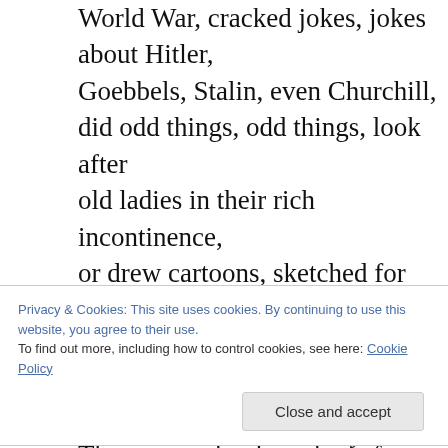World War, cracked jokes, jokes about Hitler, Goebbels, Stalin, even Churchill, did odd things, odd things, look after old ladies in their rich incontinence, or drew cartoons, sketched for small mags, cartoons, sketched, drew, small mags.

They seemed to have lots of patience, except when opening time loomed over some petty duty, like work. Mine had a second childhood, a red scooter which he regularly came off, half-pissed back from a country pub,
Privacy & Cookies: This site uses cookies. By continuing to use this website, you agree to their use.
To find out more, including how to control cookies, see here: Cookie Policy
Close and accept
I'm a father now, think my sons could